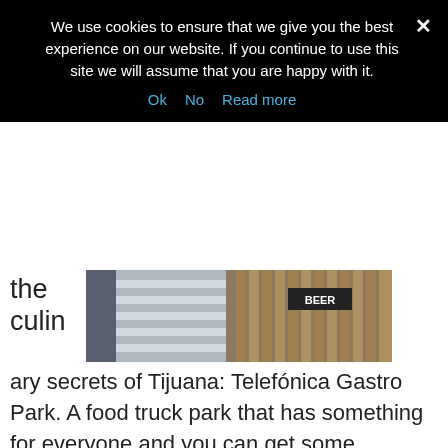We use cookies to ensure that we give you the best experience on our website. If you continue to use this site we will assume that you are happy with it.
Ok  No  Read more
[Figure (photo): A person in a white/grey striped shirt standing near a wooden fence, with a 'BEER' sign visible in the background.]
the culin ary secrets of Tijuana: Telefónica Gastro Park. A food truck park that has something for everyone and you can get some amazing food there.
After grabbing a bite to eat to soak up all the malty goodness you have been drinking, check out Funes Brewing Company. The beers from this Brewery in Tijuana have a lot of